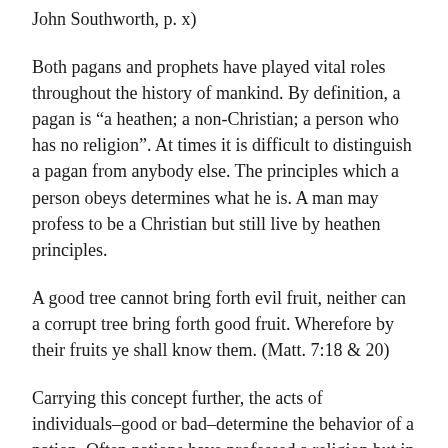John Southworth, p. x)
Both pagans and prophets have played vital roles throughout the history of mankind. By definition, a pagan is “a heathen; a non-Christian; a person who has no religion”. At times it is difficult to distinguish a pagan from anybody else. The principles which a person obeys determines what he is. A man may profess to be a Christian but still live by heathen principles.
A good tree cannot bring forth evil fruit, neither can a corrupt tree bring forth good fruit. Wherefore by their fruits ye shall know them. (Matt. 7:18 & 20)
Carrying this concept further, the acts of individuals–good or bad–determine the behavior of a nation. Often nations have professed a religion but in reality lived by pagan practices. A nation’s